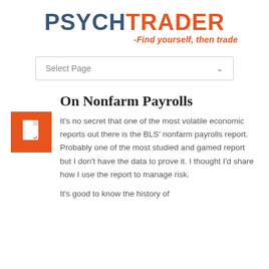PSYCHTRADER -Find yourself, then trade
On Nonfarm Payrolls
It's no secret that one of the most volatile economic reports out there is the BLS' nonfarm payrolls report. Probably one of the most studied and gamed report but I don't have the data to prove it. I thought I'd share how I use the report to manage risk.
It's good to know the history of